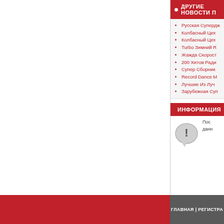ДРУГИЕ НОВОСТИ П
Русская Супердж
Колбасный Цех
Колбасный Цех
Turbo Зимний R
Жажда Скорост
200 Хитов Ради
Супер Сборник
Record Dance M
Лучшие Из Луч
Зарубежная Суп
ИНФОРМАЦИЯ
Пос данн
[Figure (illustration): Speech bubble with exclamation mark icon]
ГЛАВНАЯ | РЕГИSTРА
[Figure (logo): Directrix.ru logo]
[Figure (logo): КВН рейтинг logo]
[Figure (logo): Subscribe.ru logo]